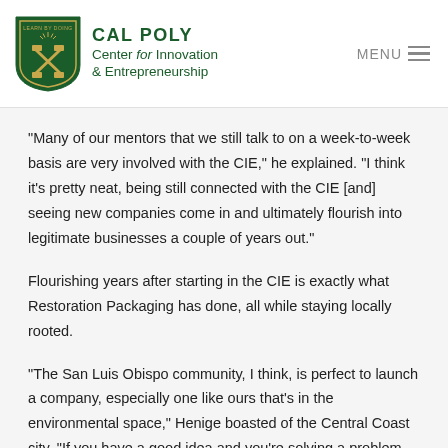Cal Poly Center for Innovation & Entrepreneurship
“Many of our mentors that we still talk to on a week-to-week basis are very involved with the CIE,” he explained. “I think it’s pretty neat, being still connected with the CIE [and] seeing new companies come in and ultimately flourish into legitimate businesses a couple of years out.”
Flourishing years after starting in the CIE is exactly what Restoration Packaging has done, all while staying locally rooted.
“The San Luis Obispo community, I think, is perfect to launch a company, especially one like ours that’s in the environmental space,” Henige boasted of the Central Coast city. “If you have a good idea and you’re solving a problem that is applicable not only